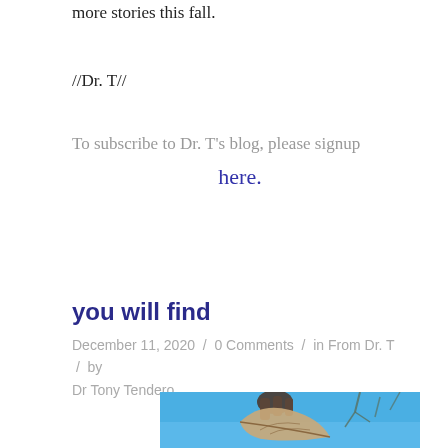more stories this fall.
//Dr. T//
To subscribe to Dr. T's blog, please signup here.
you will find
December 11, 2020 / 0 Comments / in From Dr. T / by Dr Tony Tendero
[Figure (photo): A photo showing a hand holding a large dried leaf against a blue sky with bare tree branches visible in the background.]